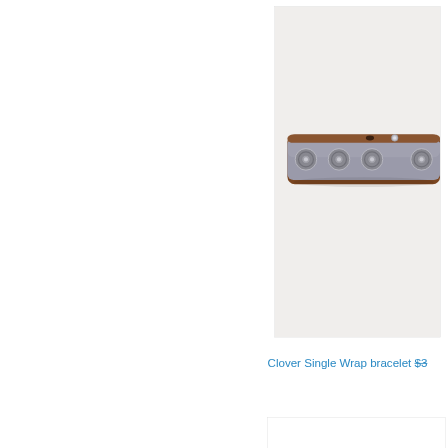[Figure (photo): Photo of a grey/lavender leather bracelet with circular silver stud embellishments arranged in a row along the band, shown on a light grey/white background. The bracelet also shows a brown interior lining and snap closure.]
Clover Single Wrap bracelet $3...
[Figure (photo): Partial view of a second product card, mostly cut off at the bottom of the page.]